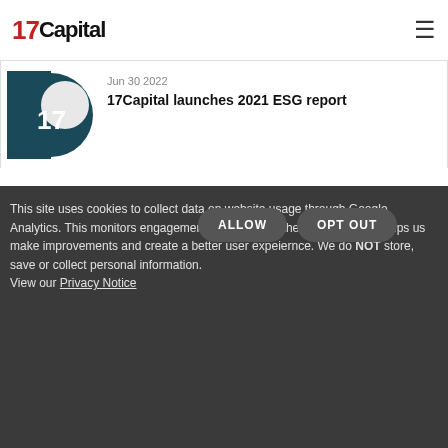17Capital
Jun 30 2022
17Capital launches 2021 ESG report
This site uses cookies to collect data on website usage through Google Analytics. This monitors engagement and usage of the website which helps us make improvements and create a better user expeiernce. We do NOT store, save or collect personal information. View our Privacy Notice